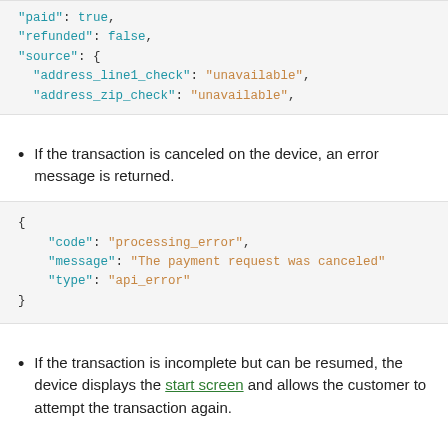"paid": true,
"refunded": false,
"source": {
  "address_line1_check": "unavailable",
  "address_zip_check": "unavailable",
If the transaction is canceled on the device, an error message is returned.
{
  "code": "processing_error",
  "message": "The payment request was canceled"
  "type": "api_error"
}
If the transaction is incomplete but can be resumed, the device displays the start screen and allows the customer to attempt the transaction again.
Updated 4 months ago